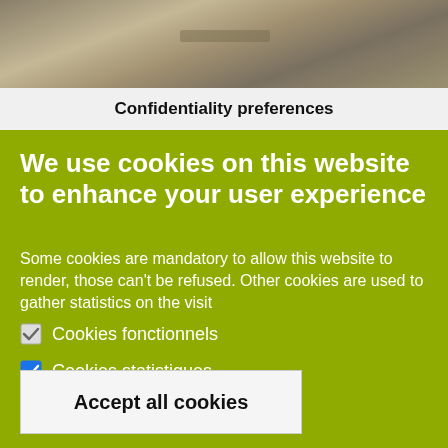[Figure (photo): Partial photo of a metallic or stone surface, cropped at top of dialog]
Confidentiality preferences
We use cookies on this website to enhance your user experience
Some cookies are mandatory to allow this website to render, those can't be refused. Other cookies are used to gather statistics on the visit
Cookies fonctionnels
Cookies statistiques
Save preferences
Accept all cookies